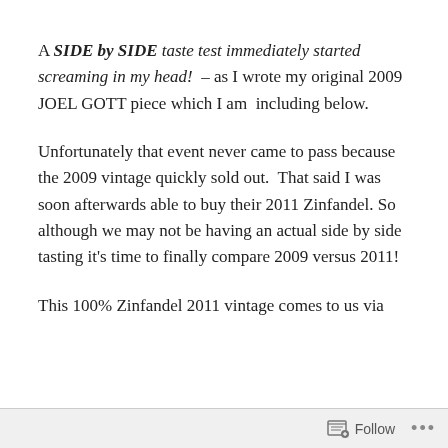A SIDE by SIDE taste test immediately started screaming in my head! – as I wrote my original 2009 JOEL GOTT piece which I am including below.
Unfortunately that event never came to pass because the 2009 vintage quickly sold out. That said I was soon afterwards able to buy their 2011 Zinfandel. So although we may not be having an actual side by side tasting it's time to finally compare 2009 versus 2011!
This 100% Zinfandel 2011 vintage comes to us via
Follow ···